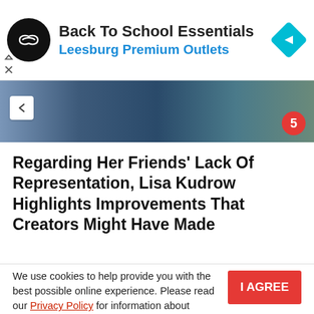[Figure (other): Advertisement banner for 'Back To School Essentials' at Leesburg Premium Outlets, with a black circular logo with infinity-like symbol and a cyan/blue diamond navigation icon on the right.]
[Figure (photo): Partial image of people (students), cropped at top. A red notification badge with number 5 is visible in the bottom right corner.]
Regarding Her Friends' Lack Of Representation, Lisa Kudrow Highlights Improvements That Creators Might Have Made
We use cookies to help provide you with the best possible online experience. Please read our Privacy Policy for information about which cookies we use and what information we collect on our site. By continuing to use this site, you agree that we may store and access cookies on your device.